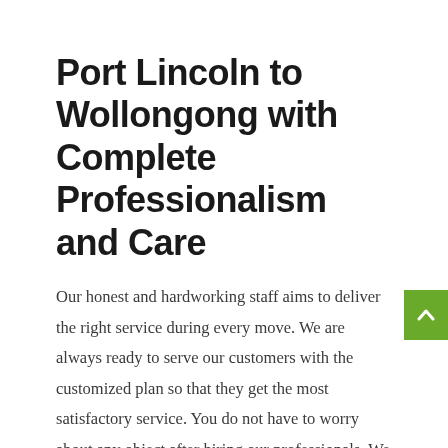Port Lincoln to Wollongong with Complete Professionalism and Care
Our honest and hardworking staff aims to deliver the right service during every move. We are always ready to serve our customers with the customized plan so that they get the most satisfactory service. You do not have to worry about any object after hiring our professionals. We do our work with complete responsibility so that you can do your other important work. All our interstate moving services are budget-friendly.